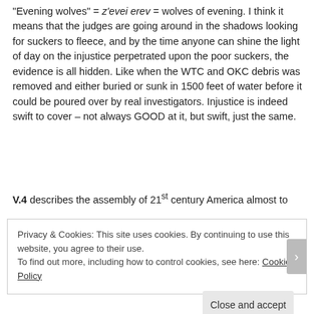“Evening wolves” = z’evei erev = wolves of evening. I think it means that the judges are going around in the shadows looking for suckers to fleece, and by the time anyone can shine the light of day on the injustice perpetrated upon the poor suckers, the evidence is all hidden. Like when the WTC and OKC debris was removed and either buried or sunk in 1500 feet of water before it could be poured over by real investigators. Injustice is indeed swift to cover – not always GOOD at it, but swift, just the same.
V.4 describes the assembly of 21st century America almost to
Privacy & Cookies: This site uses cookies. By continuing to use this website, you agree to their use.
To find out more, including how to control cookies, see here: Cookie Policy